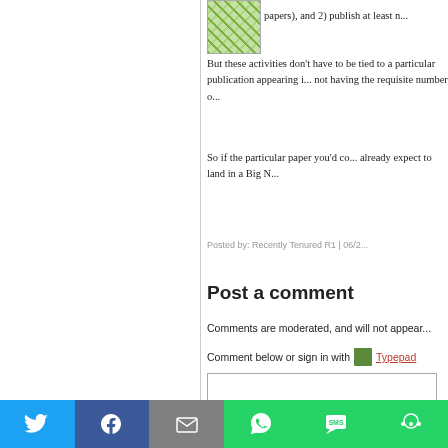[Figure (illustration): Green/white geometric pattern avatar thumbnail]
papers), and 2) publish at least n...
But these activities don't have to be tied to a particular publication appearing in... not having the requisite number of...
So if the particular paper you'd c... already expect to land in a Big N...
Posted by: Recently Tenured R1 | 06/2...
Post a comment
Comments are moderated, and will not appear...
Comment below or sign in with Typepad...
[Figure (screenshot): Comment text input box (empty)]
[Figure (infographic): Social share bar with Twitter, Facebook, Email, WhatsApp, SMS, and More buttons]